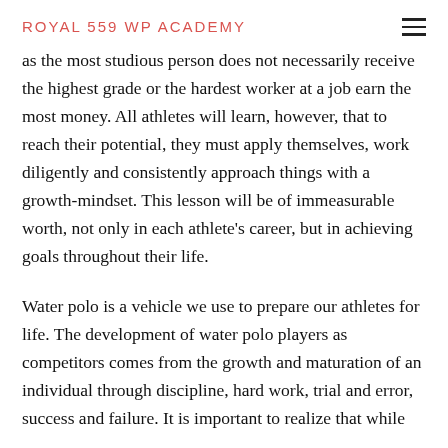ROYAL 559 WP ACADEMY
as the most studious person does not necessarily receive the highest grade or the hardest worker at a job earn the most money. All athletes will learn, however, that to reach their potential, they must apply themselves, work diligently and consistently approach things with a growth-mindset. This lesson will be of immeasurable worth, not only in each athlete's career, but in achieving goals throughout their life.
Water polo is a vehicle we use to prepare our athletes for life. The development of water polo players as competitors comes from the growth and maturation of an individual through discipline, hard work, trial and error, success and failure. It is important to realize that while